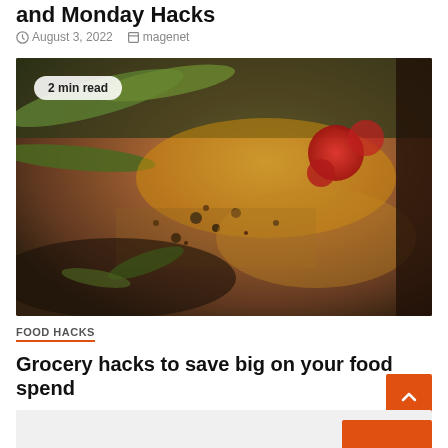and Monday Hacks
August 3, 2022   magenet
[Figure (photo): Close-up macro photograph of a pizza with toppings including green peppers, red tomato pieces, herbs, and seasoning on a golden-brown crust]
FOOD HACKS
Grocery hacks to save big on your food spend
July 26, 2022   magenet